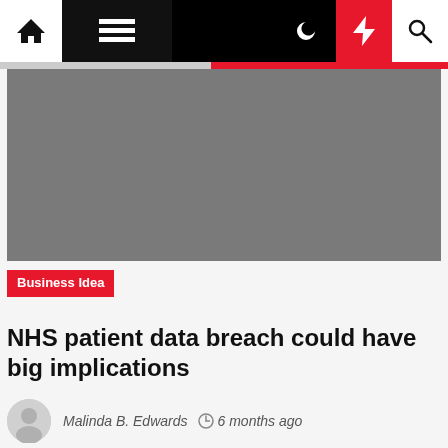Navigation bar with home, menu, night mode, flash, and search icons
[Figure (photo): Large gray placeholder hero image for the article]
Business Idea
NHS patient data breach could have big implications
Malinda B. Edwards  6 months ago